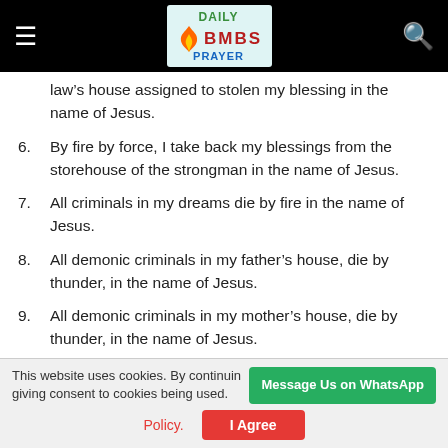Daily Prayer Bombs
law’s house assigned to stolen my blessing in the name of Jesus.
6. By fire by force, I take back my blessings from the storehouse of the strongman in the name of Jesus.
7. All criminals in my dreams die by fire in the name of Jesus.
8. All demonic criminals in my father’s house, die by thunder, in the name of Jesus.
9. All demonic criminals in my mother’s house, die by thunder, in the name of Jesus.
This website uses cookies. By continuing you are giving consent to cookies being used. Policy. I Agree